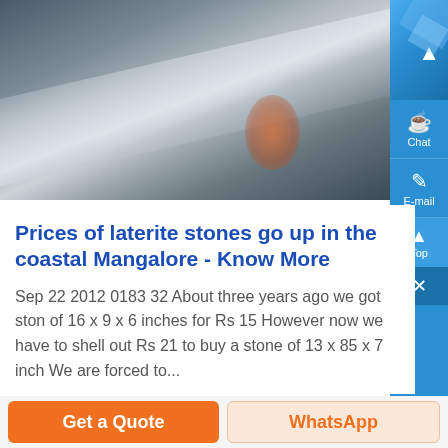[Figure (photo): A close-up photograph of laterite stones with a grayish and brownish surface, with a diagonal stripe of lighter color across the middle and a warm orange-red glow on the lower right.]
Prices of laterite stones go up in the coastal Mangalore - Know More
Sep 22 2012 0183 32 About three years ago we got ston of 16 x 9 x 6 inches for Rs 15 However now we have to shell out Rs 21 to buy a stone of 13 x 85 x 7 inch We are forced to...